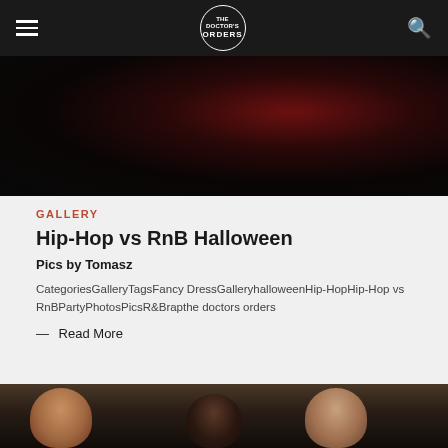THE DOCTOR'S ORDERS
[Figure (photo): Dark nightclub/party photo with red lighting]
GALLERY
Hip-Hop vs RnB Halloween
Pics by Tomasz
CategoriesGalleryTagsFancy DressGalleryhalloweenHip-HopHip-Hop vs RnBPartyPhotosPicsR&Brapthe doctors orders
— Read More
[Figure (photo): People at a Halloween party event]